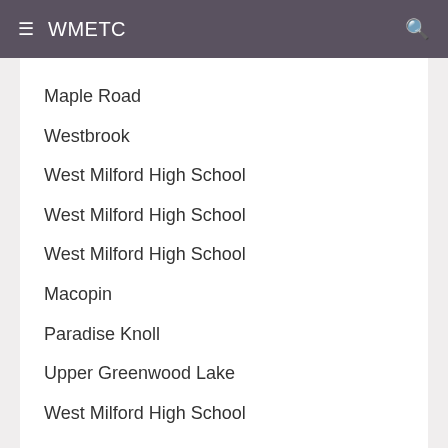WMETC
(truncated top — partial text visible)
Maple Road
Westbrook
West Milford High School
West Milford High School
West Milford High School
Macopin
Paradise Knoll
Upper Greenwood Lake
West Milford High School